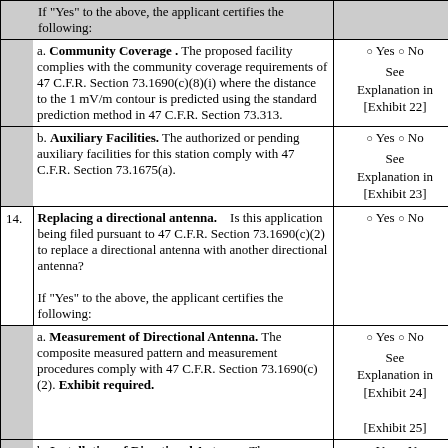|  | If "Yes" to the above, the applicant certifies the following: |  |
|  | a. Community Coverage. The proposed facility complies with the community coverage requirements of 47 C.F.R. Section 73.1690(c)(8)(i) where the distance to the 1 mV/m contour is predicted using the standard prediction method in 47 C.F.R. Section 73.313. | Yes / No
See Explanation in [Exhibit 22] |
|  | b. Auxiliary Facilities. The authorized or pending auxiliary facilities for this station comply with 47 C.F.R. Section 73.1675(a). | Yes / No
See Explanation in [Exhibit 23] |
| 14. | Replacing a directional antenna. Is this application being filed pursuant to 47 C.F.R. Section 73.1690(c)(2) to replace a directional antenna with another directional antenna?

If "Yes" to the above, the applicant certifies the following: | Yes / No |
|  | a. Measurement of Directional Antenna. The composite measured pattern and measurement procedures comply with 47 C.F.R. Section 73.1690(c)(2). Exhibit required. | Yes / No
See Explanation in [Exhibit 24]
[Exhibit 25] |
|  | b. Installation of Directional Antenna. The installation of the directional antenna complies with 47 C.F.R. Section | Yes / No
See |